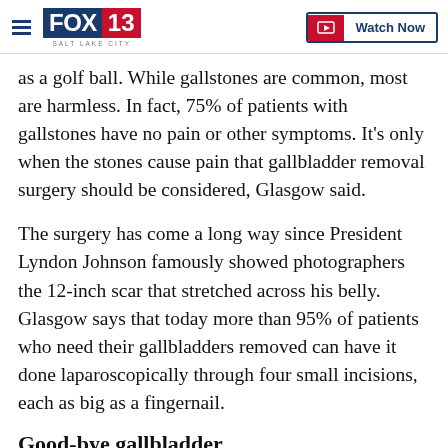FOX 13 SALT LAKE CITY | Watch Now
as a golf ball. While gallstones are common, most are harmless. In fact, 75% of patients with gallstones have no pain or other symptoms. It’s only when the stones cause pain that gallbladder removal surgery should be considered, Glasgow said.
The surgery has come a long way since President Lyndon Johnson famously showed photographers the 12-inch scar that stretched across his belly. Glasgow says that today more than 95% of patients who need their gallbladders removed can have it done laparoscopically through four small incisions, each as big as a fingernail.
Good-bye gallbladder